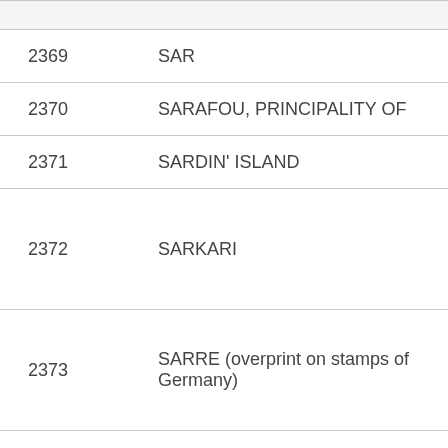| Number | Name |
| --- | --- |
| 2369 | SAR |
| 2370 | SARAFOU, PRINCIPALITY OF |
| 2371 | SARDIN' ISLAND |
| 2372 | SARKARI |
| 2373 | SARRE (overprint on stamps of Germany) |